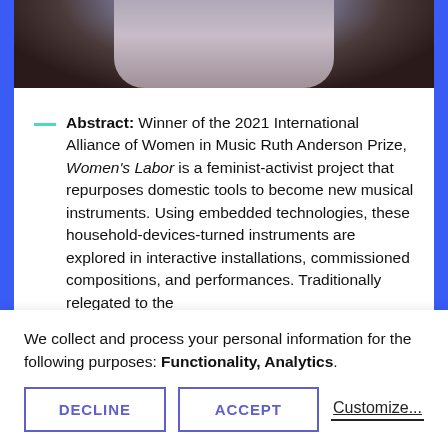[Figure (photo): Cropped photo of a person wearing white/light patterned clothing, partially visible at top of page]
Abstract: Winner of the 2021 International Alliance of Women in Music Ruth Anderson Prize, Women's Labor is a feminist-activist project that repurposes domestic tools to become new musical instruments. Using embedded technologies, these household-devices-turned instruments are explored in interactive installations, commissioned compositions, and performances. Traditionally relegated to the
We collect and process your personal information for the following purposes: Functionality, Analytics.
DECLINE
ACCEPT
Customize...